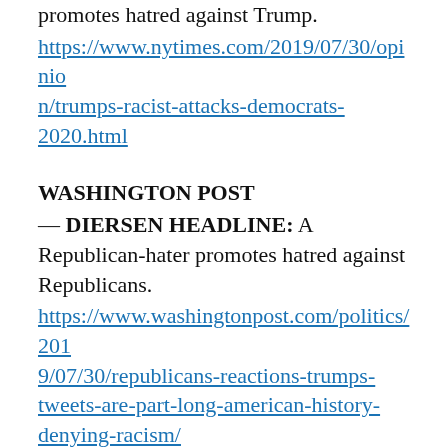promotes hatred against Trump.
https://www.nytimes.com/2019/07/30/opinion/trumps-racist-attacks-democrats-2020.html
WASHINGTON POST
— DIERSEN HEADLINE: A Republican-hater promotes hatred against Republicans.
https://www.washingtonpost.com/politics/2019/07/30/republicans-reactions-trumps-tweets-are-part-long-american-history-denying-racism/
— DIERSEN HEADLINE: A Trump-hater promotes hatred against Trump.
https://www.washingtonpost.com/opinions/trump-has-essentially-declared-a-race-